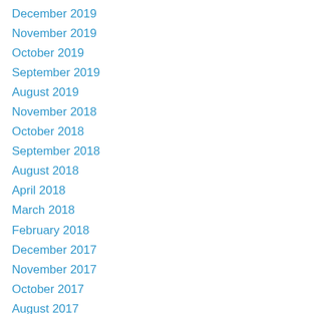December 2019
November 2019
October 2019
September 2019
August 2019
November 2018
October 2018
September 2018
August 2018
April 2018
March 2018
February 2018
December 2017
November 2017
October 2017
August 2017
July 2017
May 2017
March 2017
February 2017